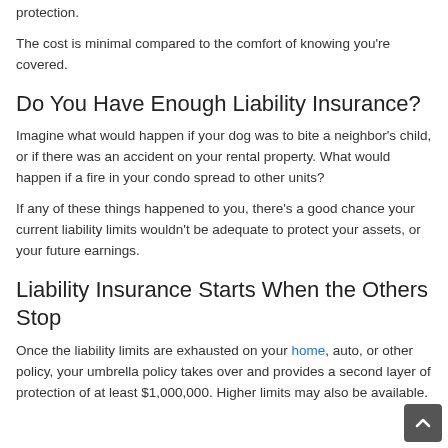insurance policy takes over and provides you with additional protection.
The cost is minimal compared to the comfort of knowing you're covered.
Do You Have Enough Liability Insurance?
Imagine what would happen if your dog was to bite a neighbor's child, or if there was an accident on your rental property. What would happen if a fire in your condo spread to other units?
If any of these things happened to you, there's a good chance your current liability limits wouldn't be adequate to protect your assets, or your future earnings.
Liability Insurance Starts When the Others Stop
Once the liability limits are exhausted on your home, auto, or other policy, your umbrella policy takes over and provides a second layer of protection of at least $1,000,000. Higher limits may also be available.